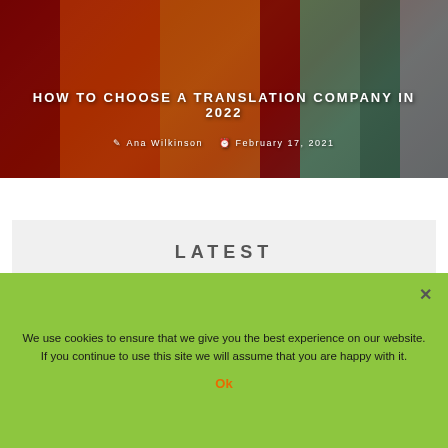[Figure (photo): Photo of language dictionaries including Collins Spanish, Romanian-English, Franzosisch-Deutsch/Deutsch-Franzosisch, and Pons dictionaries stacked together, with overlaid article title and metadata]
HOW TO CHOOSE A TRANSLATION COMPANY IN 2022
Ana Wilkinson  February 17, 2021
LATEST
[Figure (photo): Partially visible article thumbnail preview strip]
We use cookies to ensure that we give you the best experience on our website. If you continue to use this site we will assume that you are happy with it.
Ok